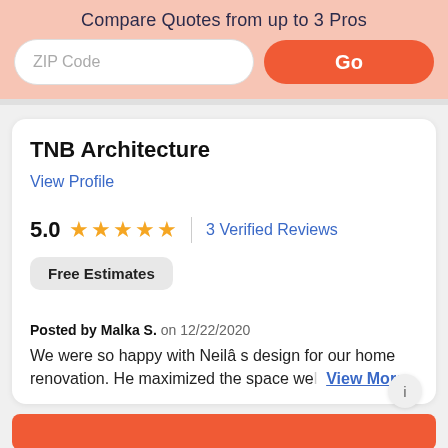Compare Quotes from up to 3 Pros
[Figure (screenshot): ZIP Code input field and orange Go button]
TNB Architecture
View Profile
5.0  ★★★★★  |  3 Verified Reviews
Free Estimates
Posted by Malka S. on 12/22/2020
We were so happy with Neila s design for our home renovation. He maximized the space we View More